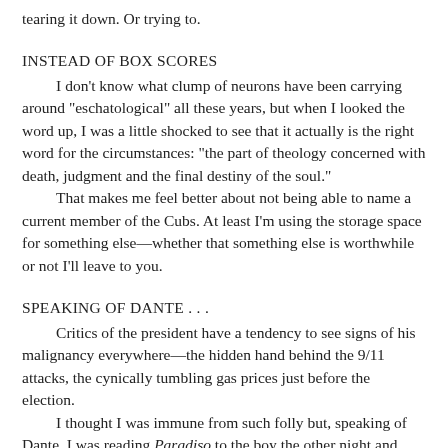tearing it down. Or trying to.
INSTEAD OF BOX SCORES
I don't know what clump of neurons have been carrying around "eschatological" all these years, but when I looked the word up, I was a little shocked to see that it actually is the right word for the circumstances: "the part of theology concerned with death, judgment and the final destiny of the soul."
That makes me feel better about not being able to name a current member of the Cubs. At least I'm using the storage space for something else—whether that something else is worthwhile or not I'll leave to you.
SPEAKING OF DANTE . . .
Critics of the president have a tendency to see signs of his malignancy everywhere—the hidden hand behind the 9/11 attacks, the cynically tumbling gas prices just before the election.
I thought I was immune from such folly but, speaking of Dante, I was reading Paradiso to the boy the other night and came upon these lines. A sentiment expressed 700 years ago by Beatrice but also one that could have been uttered by Hillary Clinton last week to rebuff the notion of staying the course in Iraq: